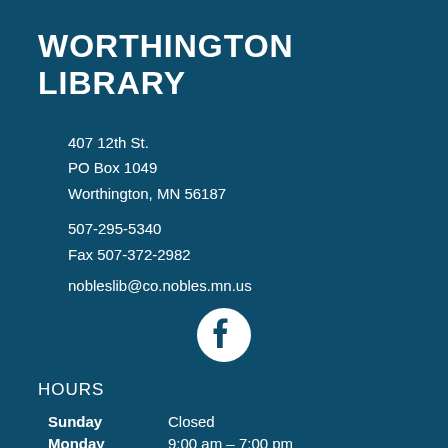WORTHINGTON LIBRARY
407 12th St.
PO Box 1049
Worthington, MN 56187
507-295-5340
Fax 507-372-2982
nobleslib@co.nobles.mn.us
[Figure (logo): Facebook logo icon — white circle with dark blue Facebook 'f' lettermark]
HOURS
| Day | Hours |
| --- | --- |
| Sunday | Closed |
| Monday | 9:00 am – 7:00 pm |
| Tuesday | 9:00 am – 7:00 pm |
| Wednesday | 9:00 am – 7:00 pm |
| Thursday | 9:00 am – 7:00 pm |